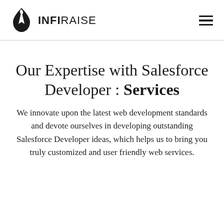INFIRAISE
Our Expertise with Salesforce Developer : Services
We innovate upon the latest web development standards and devote ourselves in developing outstanding Salesforce Developer ideas, which helps us to bring you truly customized and user friendly web services.